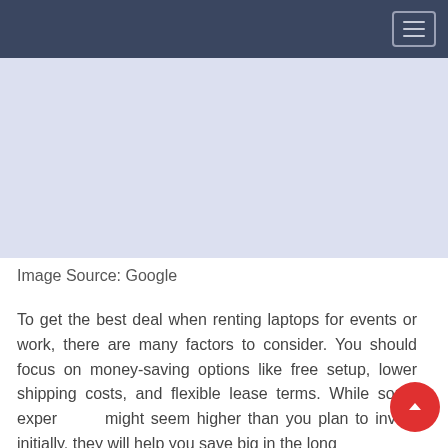[Figure (other): Placeholder image area with light periwinkle/lavender background]
Image Source: Google
To get the best deal when renting laptops for events or work, there are many factors to consider. You should focus on money-saving options like free setup, lower shipping costs, and flexible lease terms. While some expenses might seem higher than you plan to invest initially, they will help you save big in the long